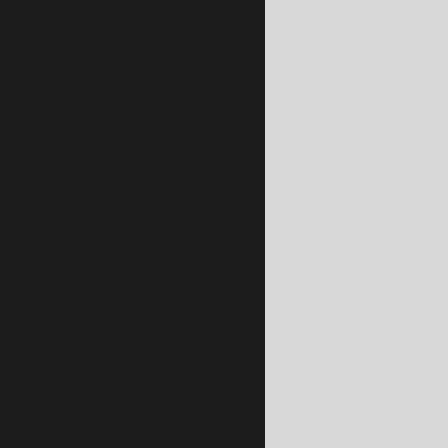[Figure (photo): NOAA GOES-Florida radar/satellite image showing storm system with colorful precipitation bands (green, yellow, red, purple) overlaid on grayscale satellite imagery, with NOAA logo visible in lower left of image and scale bar reading '2' and 'GOES-FLO' at bottom]
I'd lost phone service co… load images. I was losin…
Taking a wild stab, I sta… darkness—and I realize… further down the coast i…
So after a few miles I tu… road with data connecti…
Knowing I'd soon lose m… we needed to select my…
The problem? Well, the…